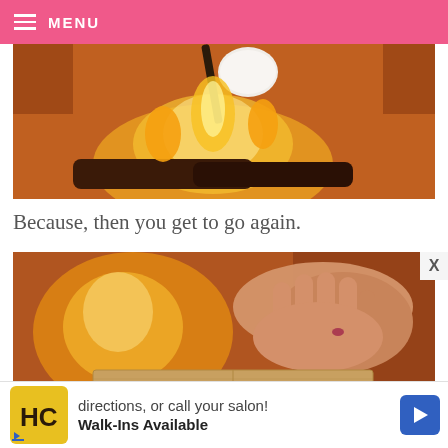≡ MENU
[Figure (photo): A marshmallow on a stick being roasted over a fire, warm orange tones with fire in background]
Because, then you get to go again.
[Figure (photo): Hands holding a graham cracker near a fireplace, preparing s'mores, warm orange tones]
[Figure (other): Advertisement banner: HC logo with text 'directions, or call your salon! Walk-Ins Available' and a blue navigation arrow icon]